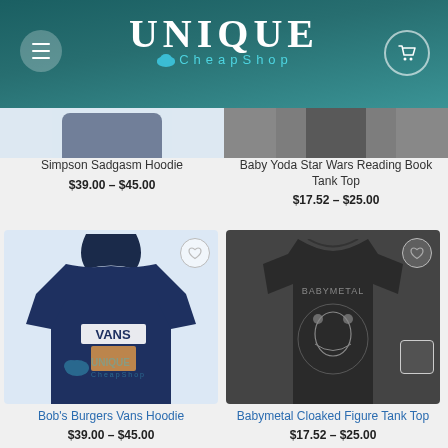[Figure (screenshot): Unique CheapShop website header with logo, menu button, and cart icon on teal background]
Simpson Sadgasm Hoodie
$39.00 – $45.00
Baby Yoda Star Wars Reading Book Tank Top
$17.52 – $25.00
[Figure (photo): Bob's Burgers Vans Hoodie - navy blue hoodie with VANS logo and cartoon characters, on light blue background with UniqueChapShop watermark]
Bob's Burgers Vans Hoodie
$39.00 – $45.00
[Figure (photo): Babymetal Cloaked Figure Tank Top - dark grey tank top with Babymetal graphic on dark background]
Babymetal Cloaked Figure Tank Top
$17.52 – $25.00